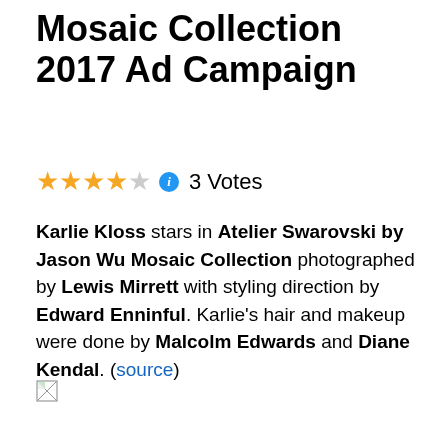Mosaic Collection 2017 Ad Campaign
3 Votes (rating: 3.5 stars)
Karlie Kloss stars in Atelier Swarovski by Jason Wu Mosaic Collection photographed by Lewis Mirrett with styling direction by Edward Enninful. Karlie's hair and makeup were done by Malcolm Edwards and Diane Kendal. (source)
[Figure (photo): Broken/missing image placeholder icon]